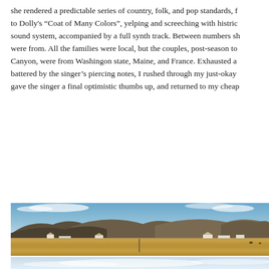she rendered a predictable series of country, folk, and pop standards, f to Dolly's “Coat of Many Colors”, yelping and screeching with histric sound system, accompanied by a full synth track. Between numbers sh were from. All the families were local, but the couples, post-season to Canyon, were from Washingon state, Maine, and France. Exhausted a battered by the singer’s piercing notes, I rushed through my just-okay gave the singer a final optimistic thumbs up, and returned to my cheap
[Figure (photo): Landscape photograph showing a wide dry golden grassland field in the foreground, farm buildings and houses along the middle ground, and rocky dark hills/mountains in the background under a partly cloudy blue sky.]
[Figure (photo): Partial view of another landscape photograph showing a pale sky with light clouds, appearing at the bottom of the page (cropped).]